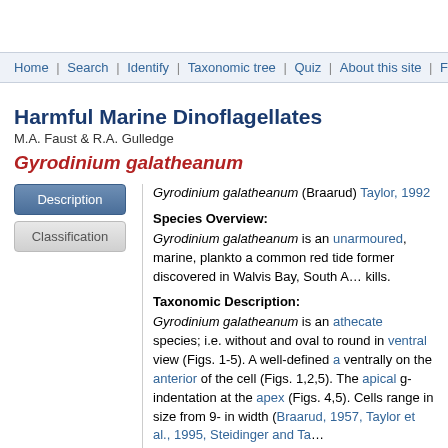Home | Search | Identify | Taxonomic tree | Quiz | About this site | Feedback
Harmful Marine Dinoflagellates
M.A. Faust & R.A. Gulledge
Gyrodinium galatheanum
Description
Classification
Gyrodinium galatheanum (Braarud) Taylor, 1992
Species Overview:
Gyrodinium galatheanum is an unarmoured, marine, plankto… a common red tide former discovered in Walvis Bay, South A… kills.
Taxonomic Description:
Gyrodinium galatheanum is an athecate species; i.e. without… and oval to round in ventral view (Figs. 1-5). A well-defined a… ventrally on the anterior of the cell (Figs. 1,2,5). The apical g… indentation at the apex (Figs. 4,5). Cells range in size from 9-… in width (Braarud, 1957, Taylor et al., 1995, Steidinger and Ta…
The epitheca and hypotheca are both round (Figs. 1-5). The … descending fashion up to 3 times its width (Figs. 1-5). The br… excavated and houses the transverse flagellum (Figs. 1,2,5)…